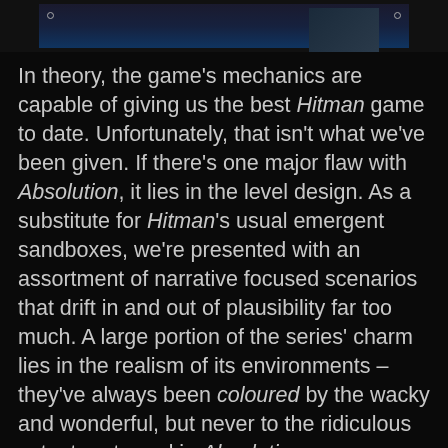[Figure (photo): Dark screenshot from Hitman Absolution game at the top of the page]
In theory, the game's mechanics are capable of giving us the best Hitman game to date. Unfortunately, that isn't what we've been given. If there's one major flaw with Absolution, it lies in the level design. As a substitute for Hitman's usual emergent sandboxes, we're presented with an assortment of narrative focused scenarios that drift in and out of plausibility far too much. A large portion of the series' charm lies in the realism of its environments – they've always been coloured by the wacky and wonderful, but never to the ridiculous extent portrayed in Absolution.